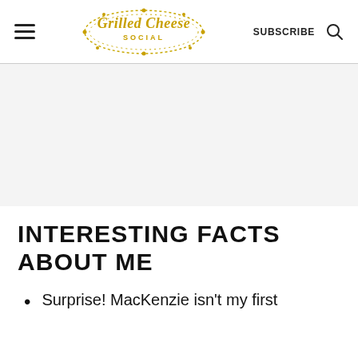Grilled Cheese Social — SUBSCRIBE
[Figure (other): Advertisement or image placeholder area, light gray background]
INTERESTING FACTS ABOUT ME
Surprise! MacKenzie isn't my first